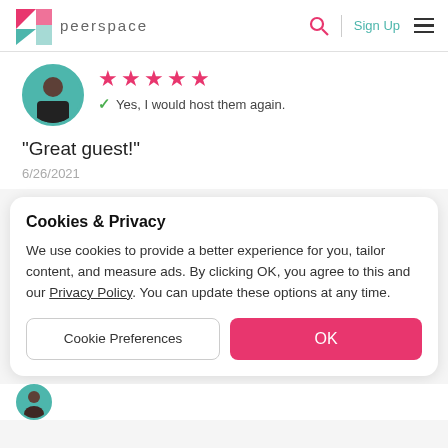peerspace | Sign Up
[Figure (photo): User avatar circle with teal border showing a person in dark clothing]
★★★★★
✓ Yes, I would host them again.
"Great guest!"
6/26/2021
Cookies & Privacy
We use cookies to provide a better experience for you, tailor content, and measure ads. By clicking OK, you agree to this and our Privacy Policy. You can update these options at any time.
Cookie Preferences
OK